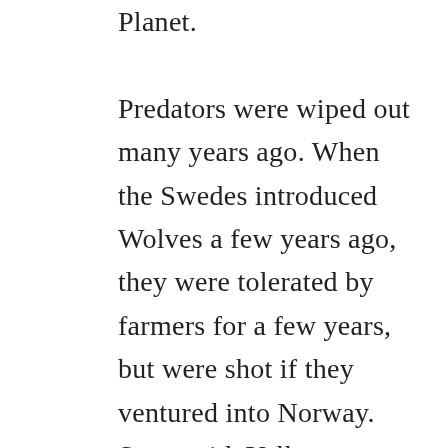Planet. Predators were wiped out many years ago. When the Swedes introduced Wolves a few years ago, they were tolerated by farmers for a few years, but were shot if they ventured into Norway. Same with Yellowstone, hunters wait for the Wolves to cross the boundary to shoot them. Over the years, in the UK, animals have been hunted to